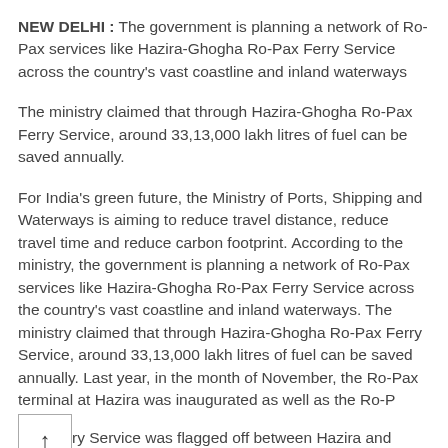NEW DELHI : The government is planning a network of Ro-Pax services like Hazira-Ghogha Ro-Pax Ferry Service across the country's vast coastline and inland waterways
The ministry claimed that through Hazira-Ghogha Ro-Pax Ferry Service, around 33,13,000 lakh litres of fuel can be saved annually.
For India's green future, the Ministry of Ports, Shipping and Waterways is aiming to reduce travel distance, reduce travel time and reduce carbon footprint. According to the ministry, the government is planning a network of Ro-Pax services like Hazira-Ghogha Ro-Pax Ferry Service across the country's vast coastline and inland waterways. The ministry claimed that through Hazira-Ghogha Ro-Pax Ferry Service, around 33,13,000 lakh litres of fuel can be saved annually. Last year, in the month of November, the Ro-Pax terminal at Hazira was inaugurated as well as the Ro-P[↑]ry Service was flagged off between Hazira and Ghogha in the state of Gujarat by PM Narendra Modi.